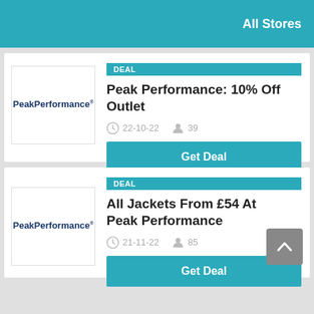All Stores
[Figure (logo): Peak Performance logo in dark blue text on white background]
DEAL
Peak Performance: 10% Off Outlet
22-10-22   39
Get Deal
[Figure (logo): Peak Performance logo in dark blue text on white background]
DEAL
All Jackets From £54 At Peak Performance
21-11-22   85
Get Deal